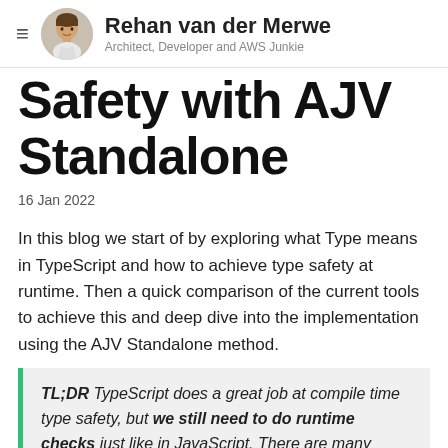Rehan van der Merwe — Architect, Developer and AWS Junkie
Safety with AJV Standalone
16 Jan 2022
In this blog we start of by exploring what Type means in TypeScript and how to achieve type safety at runtime. Then a quick comparison of the current tools to achieve this and deep dive into the implementation using the AJV Standalone method.
TL;DR TypeScript does a great job at compile time type safety, but we still need to do runtime checks just like in JavaScript. There are many packages and tools to help with this, we focused on AJV Standalone that automated JS validation functions at compile ti...